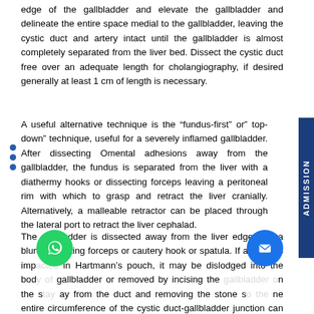edge of the gallbladder and elevate the gallbladder and delineate the entire space medial to the gallbladder, leaving the cystic duct and artery intact until the gallbladder is almost completely separated from the liver bed. Dissect the cystic duct free over an adequate length for cholangiography, if desired generally at least 1 cm of length is necessary.
A useful alternative technique is the “fundus-first” or” top-down” technique, useful for a severely inflamed gallbladder. After dissecting Omental adhesions away from the gallbladder, the fundus is separated from the liver with a diathermy hooks or dissecting forceps leaving a peritoneal rim with which to grasp and retract the liver cranially. Alternatively, a malleable retractor can be placed through the lateral port to retract the liver cephalad.
The gallbladder is dissected away from the liver edge with a blunt dissecting forceps or cautery hook or spatula. If a stone is impacted in Hartmann’s pouch, it may be dislodged into the body of gallbladder or removed by incising the gallbladder on the stay away from the duct and removing the stone so the entire circumference of the cystic duct-gallbladder junction can be viewed.